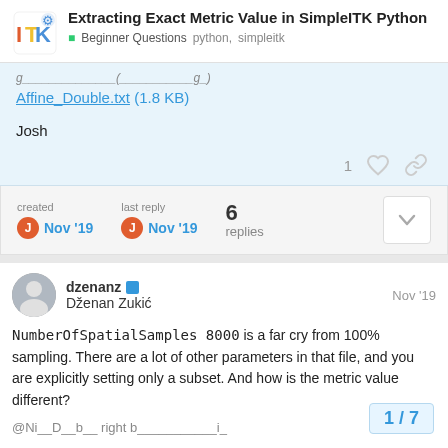Extracting Exact Metric Value in SimpleITK Python
Beginner Questions  python,  simpleitk
Affine_Double.txt (1.8 KB)
Josh
1 [like] [link]
created Nov '19   last reply Nov '19   6 replies
dzenanz  Dženan Zukić   Nov '19
NumberOfSpatialSamples 8000 is a far cry from 100% sampling. There are a lot of other parameters in that file, and you are explicitly setting only a subset. And how is the metric value different?
1 / 7